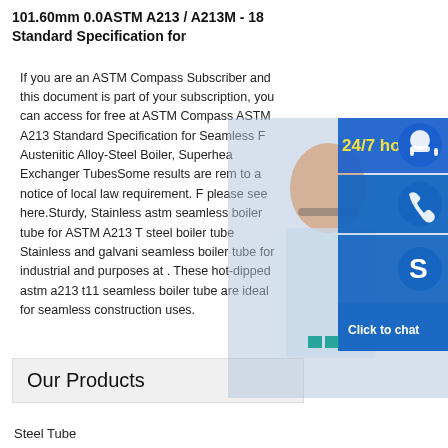101.60mm 0.0ASTM A213 / A213M - 18 Standard Specification for
If you are an ASTM Compass Subscriber and this document is part of your subscription, you can access for free at ASTM Compass ASTM A213 Standard Specification for Seamless Ferritic and Austenitic Alloy-Steel Boiler, Superheat and Heat Exchanger TubesSome results are removed due to a notice of local law requirement. For more information please see here.Sturdy, Stainless astm a213 t11 seamless boiler tube for ASTM A213 T stainless steel boiler tube Stainless and galvanized seamless boiler tube for industrial and commercial purposes at . These hot-dipped astm a213 t11 seamless boiler tube are ideal for seamless construction uses.
[Figure (photo): Customer support representative smiling, with 24/7 hour service overlay panel showing headset icon, phone icon, Skype icon, and Click to chat button]
Our Products
Steel Tube